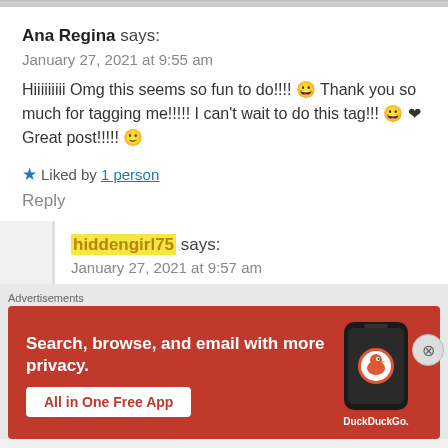Ana Regina says:
January 27, 2021 at 9:55 am
Hiiiiiiiii Omg this seems so fun to do!!!! 😀 Thank you so much for tagging me!!!!! I can't wait to do this tag!!! 😀 ❤ Great post!!!!! 🙂
★ Liked by 1 person
Reply
hiddengirl75 says:
January 27, 2021 at 9:57 am
[Figure (screenshot): DuckDuckGo advertisement banner - Search, browse, and email with more privacy. All in One Free App.]